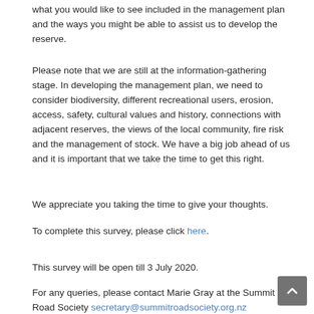what you would like to see included in the management plan and the ways you might be able to assist us to develop the reserve.
Please note that we are still at the information-gathering stage. In developing the management plan, we need to consider biodiversity, different recreational users, erosion, access, safety, cultural values and history, connections with adjacent reserves, the views of the local community, fire risk and the management of stock. We have a big job ahead of us and it is important that we take the time to get this right.
We appreciate you taking the time to give your thoughts.
To complete this survey, please click here.
This survey will be open till 3 July 2020.
For any queries, please contact Marie Gray at the Summit Road Society secretary@summitroadsociety.org.nz